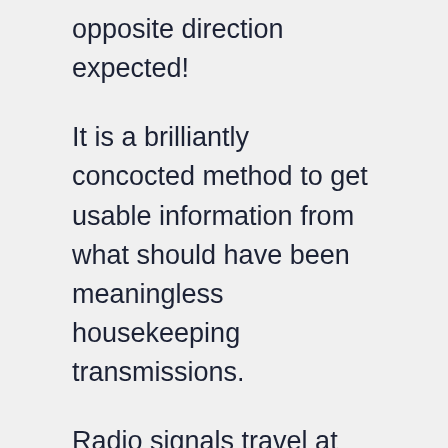opposite direction expected!
It is a brilliantly concocted method to get usable information from what should have been meaningless housekeeping transmissions.
Radio signals travel at the speed of light. If we know how long those signals take to go satellite-to-plane (or vice versa) we can start doing calculations and find the distance between the two.
Inmarsat was then able to calculate